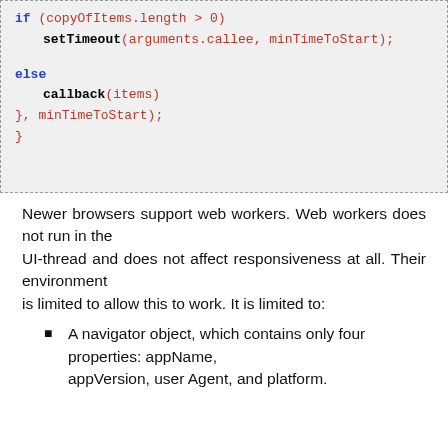[Figure (other): Code block showing JavaScript: if (copyOfItems.length > 0) setTimeout(arguments.callee, minTimeToStart); else callback(items) }, minTimeToStart); }]
Newer browsers support web workers. Web workers does not run in the UI-thread and does not affect responsiveness at all. Their environment is limited to allow this to work. It is limited to:
A navigator object, which contains only four properties: appName, appVersion, user Agent, and platform.